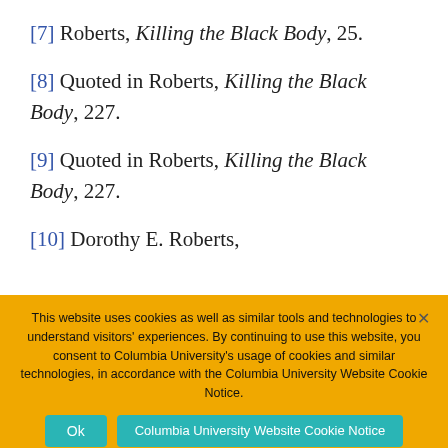[7] Roberts, Killing the Black Body, 25.
[8] Quoted in Roberts, Killing the Black Body, 227.
[9] Quoted in Roberts, Killing the Black Body, 227.
[10] Dorothy E. Roberts,
This website uses cookies as well as similar tools and technologies to understand visitors' experiences. By continuing to use this website, you consent to Columbia University's usage of cookies and similar technologies, in accordance with the Columbia University Website Cookie Notice.